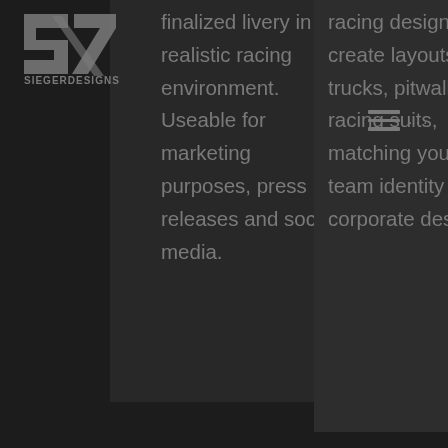[Figure (logo): SiegerDesigns logo — stylized S7 letters in grey with 'SIEGERDESIGNS' text below]
finalized livery in realistic racing environment. Useable for marketing purposes, press releases and social media.
racing design, we create layouts for trucks, pitwalls, racing suits, matching your new team identity and corporate design.